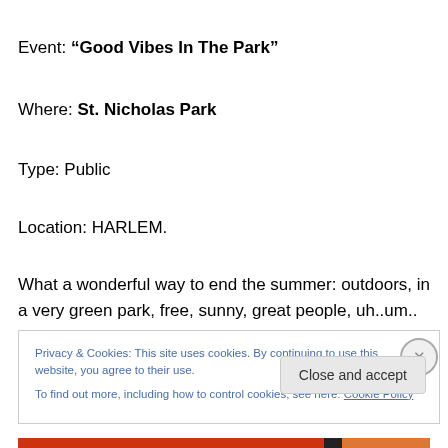Event: “Good Vibes In The Park”
Where: St. Nicholas Park
Type: Public
Location: HARLEM.
What a wonderful way to end the summer: outdoors, in a very green park, free, sunny, great people, uh..um.. fantastic music! Nothing but #goodvibes! As always, Dj
Privacy & Cookies: This site uses cookies. By continuing to use this website, you agree to their use.
To find out more, including how to control cookies, see here: Cookie Policy
Close and accept